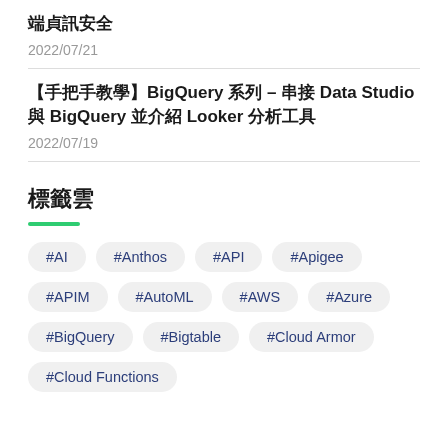端貞訊安全
2022/07/21
【手把手教學】BigQuery 系列 – 串接 Data Studio 與 BigQuery 並介紹 Looker 分析工具
2022/07/19
標籤雲
#AI
#Anthos
#API
#Apigee
#APIM
#AutoML
#AWS
#Azure
#BigQuery
#Bigtable
#Cloud Armor
#Cloud Functions